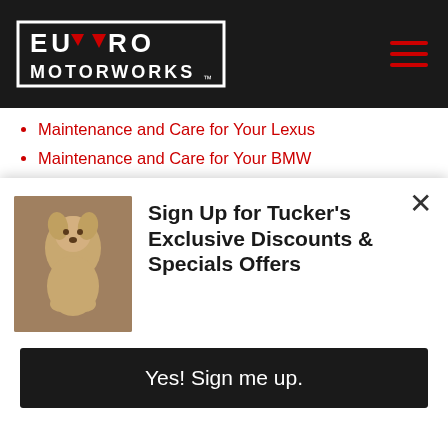Euro Motorworks navigation bar with logo and hamburger menu
Maintenance and Care for Your Mini Cooper
Maintenance and Care for Your Audi
Maintenance and Care for Your Lexus
Maintenance and Care for Your BMW
Basic Car Care Tips to Save Money
De-icing Your Windshield 101
Best Auto Mobile Apps
What Goes Into Your Import Car Repair Estimate?
What Does the Low Oil Pressure Warning Light Mean?
Oil, Filter & Fluids: General Maintenance for Your Mercedes-Benz
Sign Up for Tucker's Exclusive Discounts & Specials Offers
Yes! Sign me up.